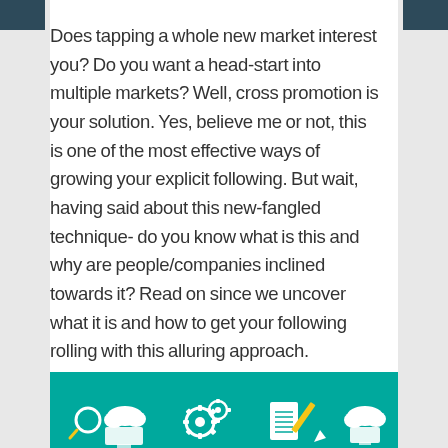Does tapping a whole new market interest you? Do you want a head-start into multiple markets? Well, cross promotion is your solution. Yes, believe me or not, this is one of the most effective ways of growing your explicit following. But wait, having said about this new-fangled technique- do you know what is this and why are people/companies inclined towards it? Read on since we uncover what it is and how to get your following rolling with this alluring approach.
[Figure (illustration): Teal/turquoise infographic banner showing digital marketing icons: magnifying glass, clouds, computer monitors, gear wheels, notepad/document, pencil, and other technology icons in white and yellow on a teal background.]